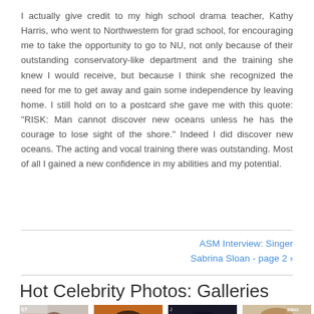I actually give credit to my high school drama teacher, Kathy Harris, who went to Northwestern for grad school, for encouraging me to take the opportunity to go to NU, not only because of their outstanding conservatory-like department and the training she knew I would receive, but because I think she recognized the need for me to get away and gain some independence by leaving home. I still hold on to a postcard she gave me with this quote: "RISK: Man cannot discover new oceans unless he has the courage to lose sight of the shore." Indeed I did discover new oceans. The acting and vocal training there was outstanding. Most of all I gained a new confidence in my abilities and my potential.
ASM Interview: Singer Sabrina Sloan - page 2 ›
Hot Celebrity Photos: Galleries
[Figure (photo): Four celebrity photo thumbnails in a horizontal row]